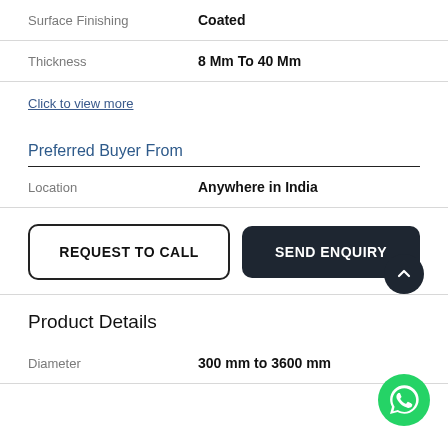| Surface Finishing | Coated |
| Thickness | 8 Mm To 40 Mm |
Click to view more
Preferred Buyer From
| Location | Anywhere in India |
REQUEST TO CALL | SEND ENQUIRY
Product Details
| Diameter | 300 mm to 3600 mm |